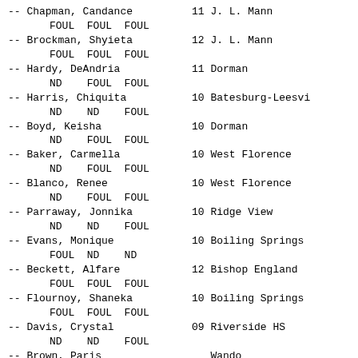-- Chapman, Candance   FOUL  FOUL  FOUL   11 J. L. Mann
-- Brockman, Shyieta   FOUL  FOUL  FOUL   12 J. L. Mann
-- Hardy, DeAndria   ND  FOUL  FOUL   11 Dorman
-- Harris, Chiquita   ND  ND  FOUL   10 Batesburg-Leesvi
-- Boyd, Keisha   ND  FOUL  FOUL   10 Dorman
-- Baker, Carmella   ND  FOUL  FOUL   10 West Florence
-- Blanco, Renee   ND  FOUL  FOUL   10 West Florence
-- Parraway, Jonnika   ND  ND  FOUL   10 Ridge View
-- Evans, Monique   FOUL  ND  ND   10 Boiling Springs
-- Beckett, Alfare   FOUL  FOUL  FOUL   12 Bishop England
-- Flournoy, Shaneka   FOUL  FOUL  FOUL   10 Boiling Springs
-- Davis, Crystal   ND  ND  FOUL   09 Riverside HS
-- Brown, Paris   FOUL  FOUL  FOUL      Wando
-- Kellum, Melissa   FOUL  FOUL  FOUL   12 Bishop England